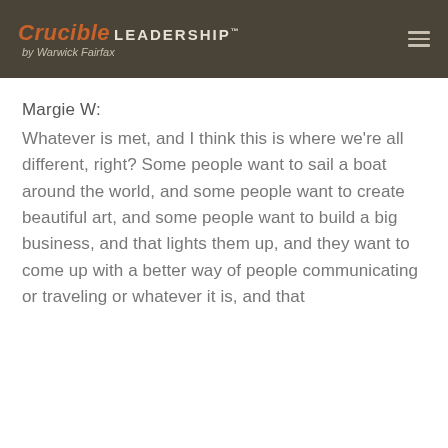Crucible LEADERSHIP™ by Warwick Fairfax
Margie W:
Whatever is met, and I think this is where we're all different, right? Some people want to sail a boat around the world, and some people want to create beautiful art, and some people want to build a big business, and that lights them up, and they want to come up with a better way of people communicating or traveling or whatever it is, and that